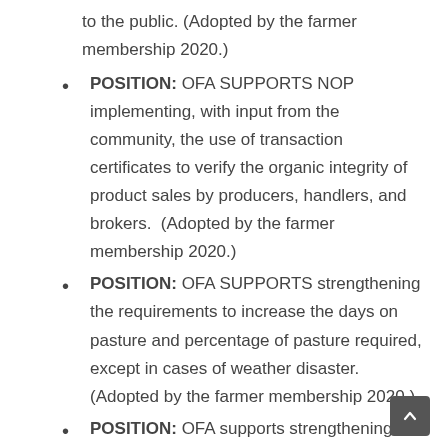(Adopted by the farmer membership 2020.) [continuation from previous page]
POSITION: OFA SUPPORTS NOP implementing, with input from the community, the use of transaction certificates to verify the organic integrity of product sales by producers, handlers, and brokers. (Adopted by the farmer membership 2020.)
POSITION: OFA SUPPORTS strengthening the requirements to increase the days on pasture and percentage of pasture required, except in cases of weather disaster. (Adopted by the farmer membership 2020.)
POSITION: OFA supports strengthening integrity throughout the organic supply chain by increasing the NOP budget and holding the NOP accountable to do the following:
improve inspection, review, and testing protocols